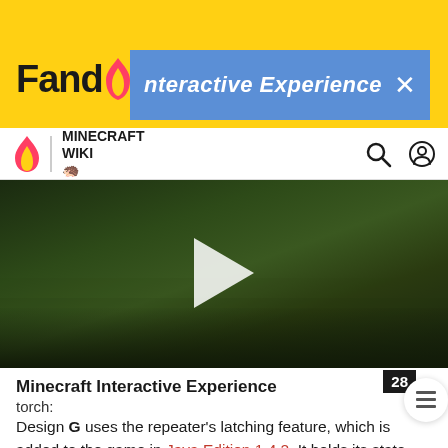[Figure (screenshot): Fandom wiki website screenshot showing yellow header, Minecraft Wiki navigation bar, a popup banner overlay reading 'Interactive Experience', a Minecraft gameplay video thumbnail with play button showing grassy landscape, and article content below.]
Minecraft Interactive Experience
torch:
Design G uses the repeater's latching feature, which is added to the game in Java Edition 1.4.2. It holds its state